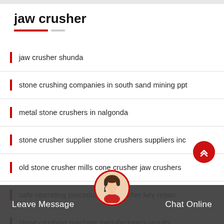jaw crusher
jaw crusher shunda
stone crushing companies in south sand mining ppt
metal stone crushers in nalgonda
stone crusher supplier stone crushers suppliers inc
old stone crusher mills cone crusher jaw crushers
safe operating procedure jaw crusher key repair
stone crushing machine manufacturers results
Leave Message
Chat Online